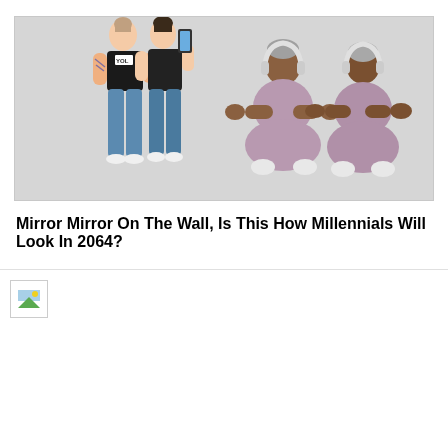[Figure (illustration): 3D rendered human figures on grey background: two young women in blue jeans and black t-shirts (one with tattoos, one holding a phone), and two dark-skinned figures in purple/pink clothes with headphones, sitting cross-legged in a meditation pose, shown front and back views.]
Mirror Mirror On The Wall, Is This How Millennials Will Look In 2064?
[Figure (photo): Broken/missing image placeholder icon (small landscape icon with green triangle and blue sky) shown in top-left of a large empty white image area.]